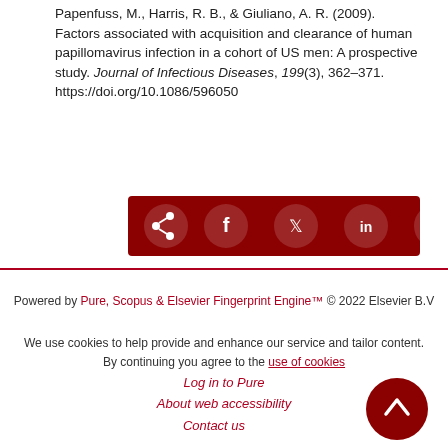Papenfuss, M., Harris, R. B., & Giuliano, A. R. (2009). Factors associated with acquisition and clearance of human papillomavirus infection in a cohort of US men: A prospective study. Journal of Infectious Diseases, 199(3), 362-371. https://doi.org/10.1086/596050
[Figure (other): Share buttons bar with dark red background containing share, Facebook, Twitter, LinkedIn, and email icons]
Powered by Pure, Scopus & Elsevier Fingerprint Engine™ © 2022 Elsevier B.V
We use cookies to help provide and enhance our service and tailor content. By continuing you agree to the use of cookies
Log in to Pure
About web accessibility
Contact us